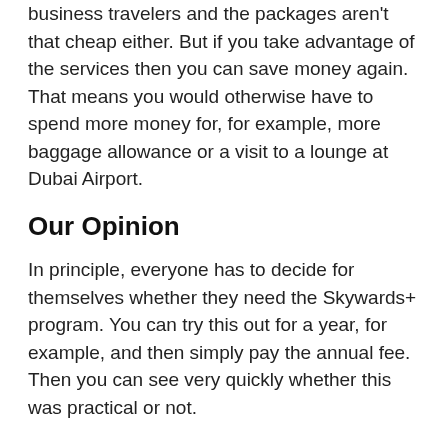business travelers and the packages aren't that cheap either. But if you take advantage of the services then you can save money again. That means you would otherwise have to spend more money for, for example, more baggage allowance or a visit to a lounge at Dubai Airport.
Our Opinion
In principle, everyone has to decide for themselves whether they need the Skywards+ program. You can try this out for a year, for example, and then simply pay the annual fee. Then you can see very quickly whether this was practical or not.
RELATED POSTS:
Marhaba Lounge: Now You Can Find Out If You Want to Use the Marhaba Lounge at Dubai